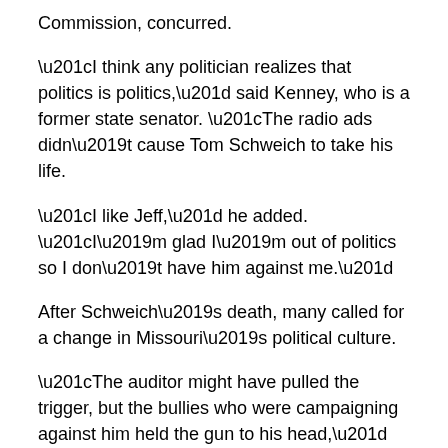Commission, concurred.
“I think any politician realizes that politics is politics,” said Kenney, who is a former state senator. “The radio ads didn’t cause Tom Schweich to take his life.
“I like Jeff,” he added. “I’m glad I’m out of politics so I don’t have him against me.”
After Schweich’s death, many called for a change in Missouri’s political culture.
“The auditor might have pulled the trigger, but the bullies who were campaigning against him held the gun to his head,” read an editorial in the St. Louis Post-Dispatch.
“Tom Schweich is a martyr for the cause,” the same editorial said.